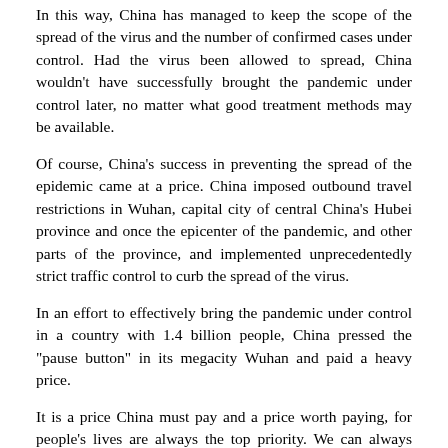In this way, China has managed to keep the scope of the spread of the virus and the number of confirmed cases under control. Had the virus been allowed to spread, China wouldn't have successfully brought the pandemic under control later, no matter what good treatment methods may be available.
Of course, China's success in preventing the spread of the epidemic came at a price. China imposed outbound travel restrictions in Wuhan, capital city of central China's Hubei province and once the epicenter of the pandemic, and other parts of the province, and implemented unprecedentedly strict traffic control to curb the spread of the virus.
In an effort to effectively bring the pandemic under control in a country with 1.4 billion people, China pressed the "pause button" in its megacity Wuhan and paid a heavy price.
It is a price China must pay and a price worth paying, for people's lives are always the top priority. We can always make up for economic losses but can never bring lives back.
Science and technology should play a big role in our efforts to adhere to the "people first, life first" principle.